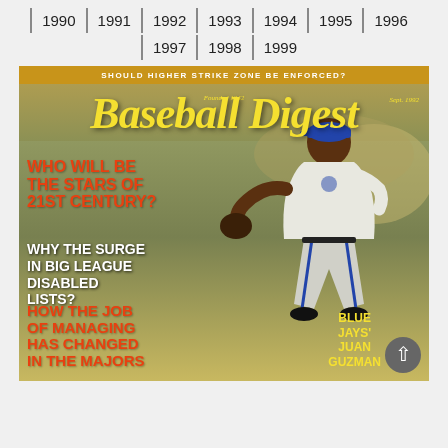1990 | 1991 | 1992 | 1993 | 1994 | 1995 | 1996
1997 | 1998 | 1999
[Figure (photo): Baseball Digest magazine cover, Sept. 1992. Features Blue Jays pitcher Juan Guzman in pitching stance wearing away uniform and blue cap. Headlines: 'SHOULD HIGHER STRIKE ZONE BE ENFORCED?', 'WHO WILL BE THE STARS OF 21ST CENTURY?', 'WHY THE SURGE IN BIG LEAGUE DISABLED LISTS?', 'HOW THE JOB OF MANAGING HAS CHANGED IN THE MAJORS'. Player credit: 'BLUE JAYS' JUAN GUZMAN'. Founded 1942 noted on masthead.]